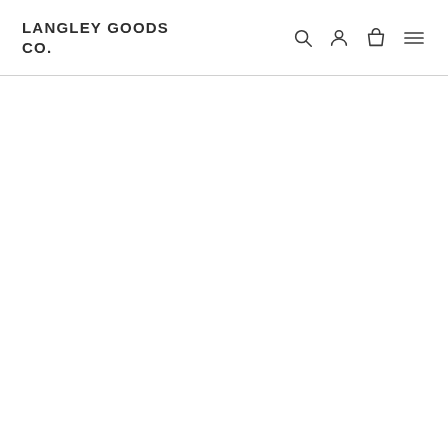LANGLEY GOODS CO.
[Figure (other): Blank white content area below navigation header]